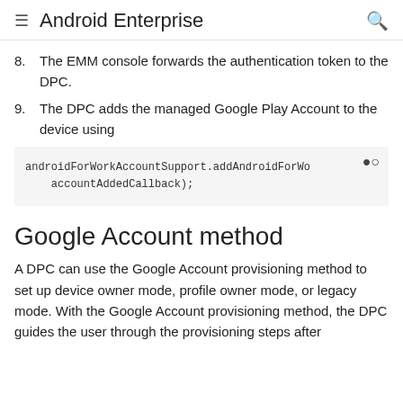Android Enterprise
8. The EMM console forwards the authentication token to the DPC.
9. The DPC adds the managed Google Play Account to the device using
[Figure (screenshot): Code block showing: androidForWorkAccountSupport.addAndroidForWo accountAddedCallback);]
Google Account method
A DPC can use the Google Account provisioning method to set up device owner mode, profile owner mode, or legacy mode. With the Google Account provisioning method, the DPC guides the user through the provisioning steps after